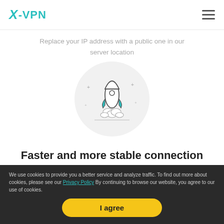X-VPN
Replace your IP address with a public one in our server location
[Figure (illustration): Rocket launching upward inside a light gray circular background with decorative stars and clouds]
Faster and more stable connection
Unlimited bandwidth for all users
Self owned servers & Partnered with AWS,
We use cookies to provide you a better service and analyze traffic. To find out more about cookies, please see our Privacy Policy By continuing to browse our website, you agree to our use of cookies.
I agree